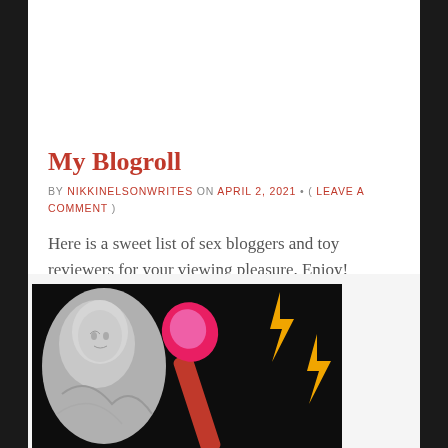My Blogroll
BY NIKKINELSONWRITES ON APRIL 2, 2021 • ( LEAVE A COMMENT )
Here is a sweet list of sex bloggers and toy reviewers for your viewing pleasure. Enjoy!
[Figure (photo): A classical marble bust on the left, a pink wand vibrator in the center, and yellow lightning bolt symbols on a dark background]